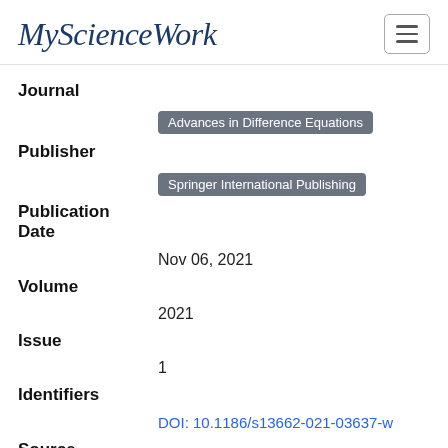My Science Work
Journal
Advances in Difference Equations
Publisher
Springer International Publishing
Publication Date
Nov 06, 2021
Volume
2021
Issue
1
Identifiers
DOI: 10.1186/s13662-021-03637-w
Source
Springer Nature
Keywords
Euler Equations  Axisymmetric Flow  Lie Point